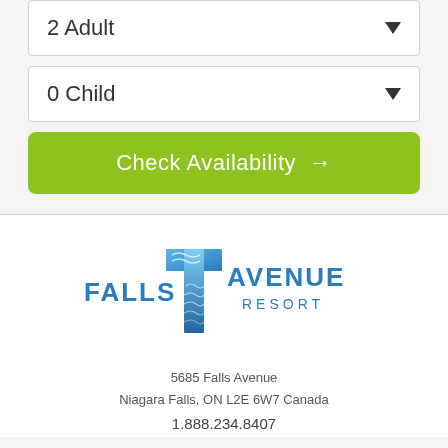2 Adult
0 Child
Check Availability →
[Figure (logo): Falls Avenue Resort logo with blue water wave design and cross shape]
5685 Falls Avenue
Niagara Falls, ON L2E 6W7 Canada
1.888.234.8407